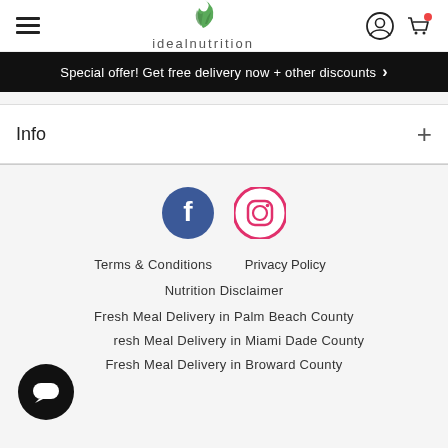idealnutrition header with hamburger menu, logo, account and cart icons
Special offer! Get free delivery now + other discounts ›
Info
[Figure (logo): Facebook and Instagram social media icons]
Terms & Conditions    Privacy Policy
Nutrition Disclaimer
Fresh Meal Delivery in Palm Beach County
Fresh Meal Delivery in Miami Dade County
Fresh Meal Delivery in Broward County